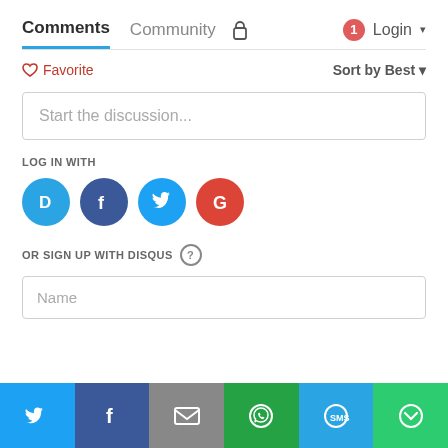Comments  Community  🔒  1  Login
♡ Favorite   Sort by Best ▾
Start the discussion...
LOG IN WITH
[Figure (illustration): Four social login icons: Disqus (blue), Facebook (dark blue), Twitter (light blue), Google (red)]
OR SIGN UP WITH DISQUS ?
Name
[Figure (illustration): Share bar with six colored buttons: Twitter (blue), Facebook (dark blue), Email (gray), WhatsApp (green), SMS (blue), More (green)]